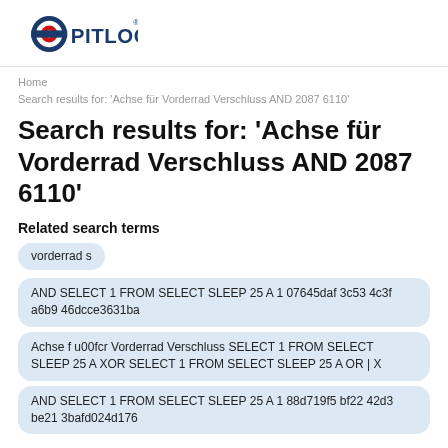[Figure (logo): PITLOCK brand logo with red and blue circular target icon and bold text]
Home
Search results for: 'Achse für Vorderrad Verschluss AND 2087 6110'
Search results for: 'Achse für Vorderrad Verschluss AND 2087 6110'
Related search terms
vorderrad s
AND SELECT 1 FROM SELECT SLEEP 25 A 1 07645daf 3c53 4c3f a6b9 46dcce3631ba
Achse f u00fcr Vorderrad Verschluss SELECT 1 FROM SELECT SLEEP 25 A XOR SELECT 1 FROM SELECT SLEEP 25 A OR | X
AND SELECT 1 FROM SELECT SLEEP 25 A 1 88d719f5 bf22 42d3 be21 3bafd024d176